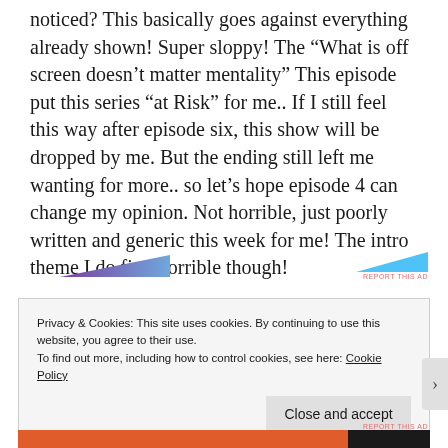noticed? This basically goes against everything already shown! Super sloppy! The “What is off screen doesn’t matter mentality” This episode put this series “at Risk” for me.. If I still feel this way after episode six, this show will be dropped by me. But the ending still left me wanting for more.. so let’s hope episode 4 can change my opinion. Not horrible, just poorly written and generic this week for me! The intro theme I do find horrible though!
[Figure (other): Advertisement bar with purple and blue gradient triangular shapes and 'REPORT THIS AD' text]
Privacy & Cookies: This site uses cookies. By continuing to use this website, you agree to their use.
To find out more, including how to control cookies, see here: Cookie Policy
Close and accept